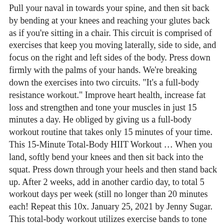Pull your naval in towards your spine, and then sit back by bending at your knees and reaching your glutes back as if you're sitting in a chair. This circuit is comprised of exercises that keep you moving laterally, side to side, and focus on the right and left sides of the body. Press down firmly with the palms of your hands. We're breaking down the exercises into two circuits. "It's a full-body resistance workout." Improve heart health, increase fat loss and strengthen and tone your muscles in just 15 minutes a day. He obliged by giving us a full-body workout routine that takes only 15 minutes of your time. This 15-Minute Total-Body HIIT Workout … When you land, softly bend your knees and then sit back into the squat. Press down through your heels and then stand back up. After 2 weeks, add in another cardio day, to total 5 workout days per week (still no longer than 20 minutes each! Repeat this 10x. January 25, 2021 by Jenny Sugar. This total-body workout utilizes exercise bands to tone every muscle group — and you only have to do it three days a week. Alternate for 60 seconds. 15-Minute Circuit Training Workout for Beginners Session Time: 15 Minutes (per round) Directions: Complete as many reps as you can of each exercise for 60 seconds, take a 15-30 second break, then move to the next exercise. Keeping your knees bent, lower the legs down towards the ground, and then bring them back up to the starting position. The Express Abs workout is optional for the full duration of the program, as is the Full Body Chair (which can be done using a chair at home, or a bench if you're training at a park). SELF may compensate for free from products that are purchased through our